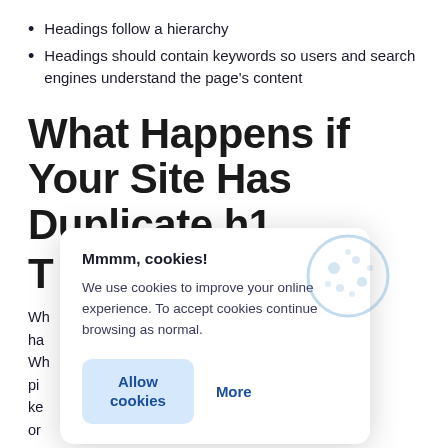Headings follow a hierarchy
Headings should contain keywords so users and search engines understand the page's content
What Happens if Your Site Has Duplicate h1
T
Wh means that one URL ha her page on the site. Wh ill find it challenging to pi ry. This will result in ke m for multiple pages or nkings.
[Figure (screenshot): Cookie consent popup overlay with title 'Mmmm, cookies!', body text about using cookies, and two buttons: 'Allow cookies' and 'More'. A cookie icon graphic is visible in the upper right of the popup.]
In es appear on your site on a large scale, Google Panda takes action, resulting in